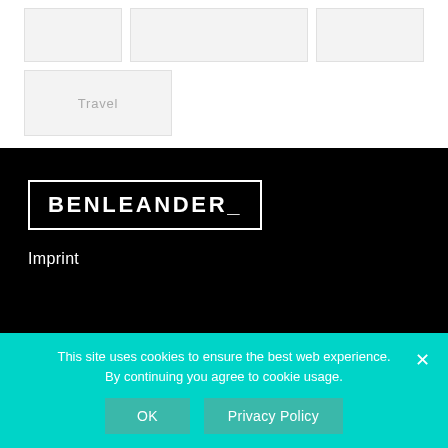Travel
[Figure (logo): BENLEANDER_ logo: white bold condensed uppercase text in a white rectangle border on black background]
Imprint
This site uses cookies to ensure the best web experience. By continuing you agree to cookie usage.
OK
Privacy Policy